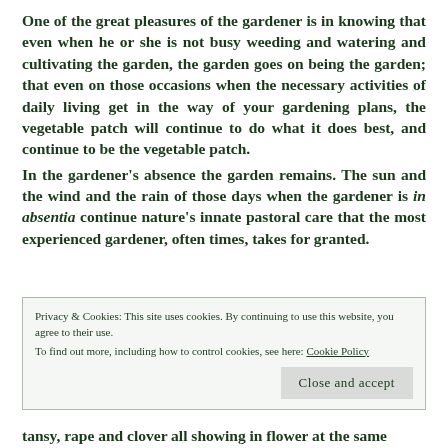One of the great pleasures of the gardener is in knowing that even when he or she is not busy weeding and watering and cultivating the garden, the garden goes on being the garden; that even on those occasions when the necessary activities of daily living get in the way of your gardening plans, the vegetable patch will continue to do what it does best, and continue to be the vegetable patch.
In the gardener's absence the garden remains. The sun and the wind and the rain of those days when the gardener is in absentia continue nature's innate pastoral care that the most experienced gardener, often times, takes for granted.
Privacy & Cookies: This site uses cookies. By continuing to use this website, you agree to their use.
To find out more, including how to control cookies, see here: Cookie Policy
Close and accept
tansy, rape and clover all showing in flower at the same